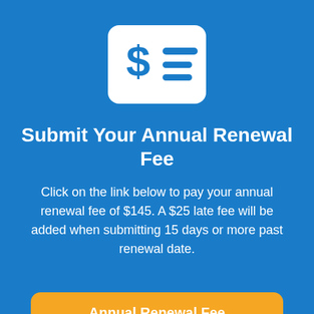[Figure (illustration): White rounded rectangle icon containing a dollar sign and horizontal lines representing a bill or invoice, on a blue background]
Submit Your Annual Renewal Fee
Click on the link below to pay your annual renewal fee of $145. A $25 late fee will be added when submitting 15 days or more past renewal date.
Annual Renewal Fee